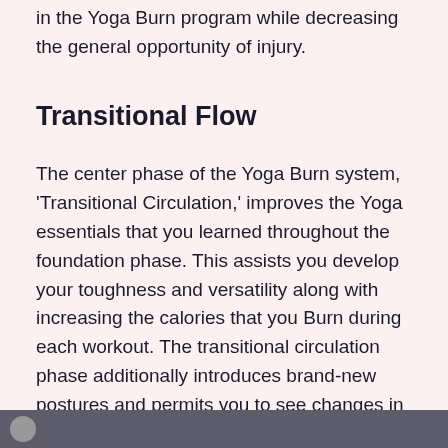in the Yoga Burn program while decreasing the general opportunity of injury.
Transitional Flow
The center phase of the Yoga Burn system, 'Transitional Circulation,' improves the Yoga essentials that you learned throughout the foundation phase. This assists you develop your toughness and versatility along with increasing the calories that you Burn during each workout. The transitional circulation phase additionally introduces brand-new postures and permits you to see changes in your muscle tone by the end of the phase.
[Figure (photo): Partial image strip at bottom of page showing a partial circular image on a dark grey background]